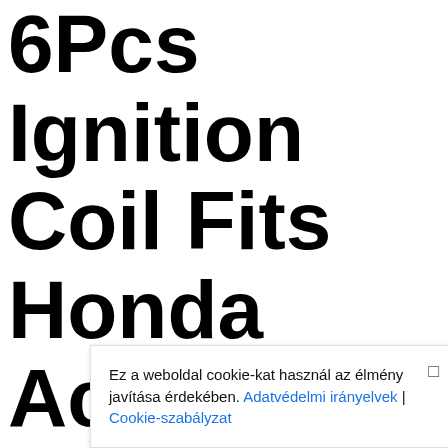6Pcs Ignition Coil Fits Honda Accord Odyssey V6 A... Pi... Ti... SA...
Ez a weboldal cookie-kat használ az élmény javítása érdekében. Adatvédelmi irányelvek | Cookie-szabályzat